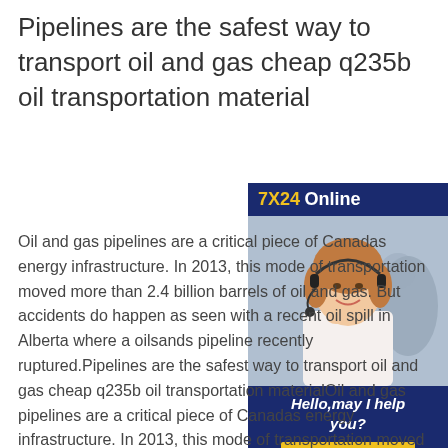Pipelines are the safest way to transport oil and gas cheap q235b oil transportation material
Oil and gas pipelines are a critical piece of Canadas energy infrastructure. In 2013, this mode of transportation moved more than 2.4 billion barrels of oil and gas. But accidents do happen as seen with a recent oil spill in Alberta where a oilsands pipeline recently ruptured.Pipelines are the safest way to transport oil and gas cheap q235b oil transportation materialOil and gas pipelines are a critical piece of Canadas energy infrastructure. In 2013, this mode of transportation moved more than 2.4 billion barrels of oil and gas. But accidents
[Figure (illustration): Customer service advertisement with woman wearing headset. Header: '7X24 Online'. Tagline: 'Hello,may I help you?'. Button: 'Get Latest Price']